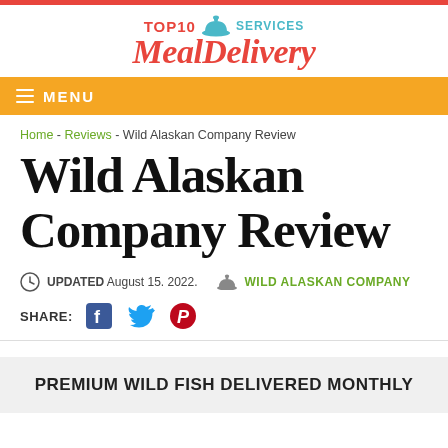[Figure (logo): Top10 Services Meal Delivery logo with cloche icon]
MENU
Home - Reviews - Wild Alaskan Company Review
Wild Alaskan Company Review
UPDATED August 15. 2022.  WILD ALASKAN COMPANY
SHARE:
PREMIUM WILD FISH DELIVERED MONTHLY